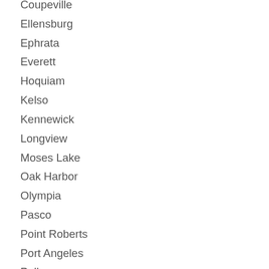Coupeville
Ellensburg
Ephrata
Everett
Hoquiam
Kelso
Kennewick
Longview
Moses Lake
Oak Harbor
Olympia
Pasco
Point Roberts
Port Angeles
Pullman
Puyallup
Redmond
Renton
Richland
Seattle
Spokane